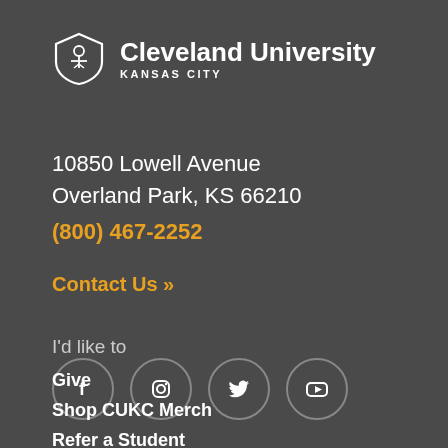[Figure (logo): Cleveland University Kansas City shield logo with text]
10850 Lowell Avenue
Overland Park, KS 66210
(800) 467-2252
Contact Us >>
[Figure (illustration): Social media icons: Facebook, Instagram, Twitter, YouTube — white icons in circular gray-bordered rings]
I'd like to
Give
Shop CUKC Merch
Refer a Student